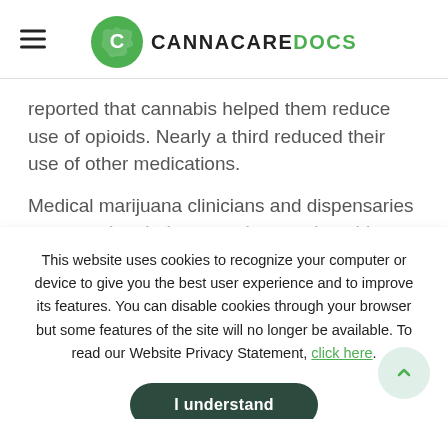CANNACAREDOCS
reported that cannabis helped them reduce use of opioids. Nearly a third reduced their use of other medications.
Medical marijuana clinicians and dispensaries are targeting their outreach to tap into this growing demographic.
This website uses cookies to recognize your computer or device to give you the best user experience and to improve its features. You can disable cookies through your browser but some features of the site will no longer be available. To read our Website Privacy Statement, click here.
I understand
cannabis evaluation and certification clinics, with one scheduled for Aug. 18 at the Hilton Garden inn in Worcester.